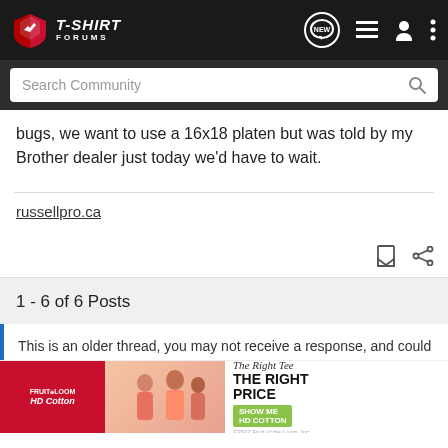T-SHIRT FORUMS
bugs, we want to use a 16x18 platen but was told by my Brother dealer just today we'd have to wait.
russellpro.ca
1 - 6 of 6 Posts
This is an older thread, you may not receive a response, and could be reviving...
[Figure (screenshot): Fruit of the Loom HD Cotton advertisement banner: The Right Tee THE RIGHT PRICE SHOW ME HD COTTON]